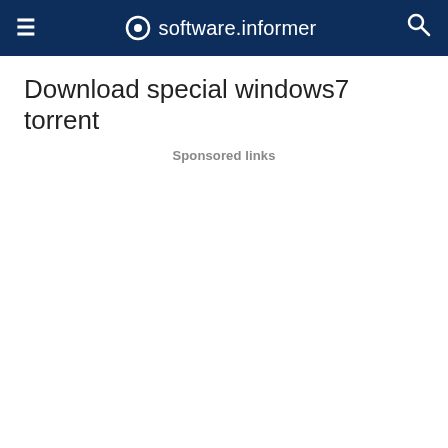software.informer
Download special windows7 torrent
Sponsored links